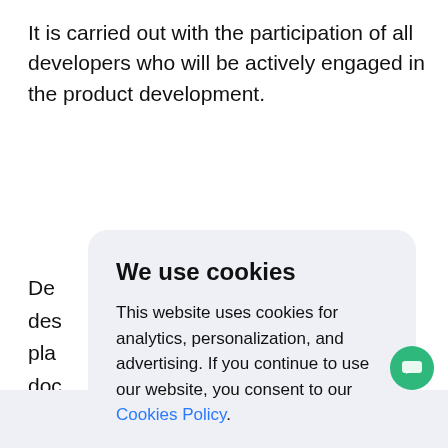It is carried out with the participation of all developers who will be actively engaged in the product development.
De... des... pla... ner doc... tho... ys if a... de pap...
[Figure (screenshot): Cookie consent modal overlay with title 'We use cookies', body text about analytics, personalization, and advertising with a Cookies Policy link, and an Accept button]
Estimation at Cleveroad